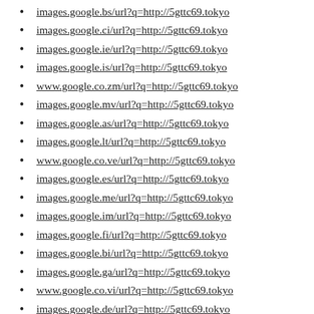images.google.bs/url?q=http://5gttc69.tokyo
images.google.ci/url?q=http://5gttc69.tokyo
images.google.ie/url?q=http://5gttc69.tokyo
images.google.is/url?q=http://5gttc69.tokyo
www.google.co.zm/url?q=http://5gttc69.tokyo
images.google.mv/url?q=http://5gttc69.tokyo
images.google.as/url?q=http://5gttc69.tokyo
images.google.lt/url?q=http://5gttc69.tokyo
www.google.co.ve/url?q=http://5gttc69.tokyo
images.google.es/url?q=http://5gttc69.tokyo
images.google.me/url?q=http://5gttc69.tokyo
images.google.im/url?q=http://5gttc69.tokyo
images.google.fi/url?q=http://5gttc69.tokyo
images.google.bi/url?q=http://5gttc69.tokyo
images.google.ga/url?q=http://5gttc69.tokyo
www.google.co.vi/url?q=http://5gttc69.tokyo
images.google.de/url?q=http://5gttc69.tokyo
images.google.kz/url?q=http://5gttc69.tokyo
images.google.mg/url?q=http://5gttc69.tokyo